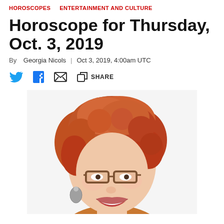HOROSCOPES   ENTERTAINMENT AND CULTURE
Horoscope for Thursday, Oct. 3, 2019
By Georgia Nicols | Oct 3, 2019, 4:00am UTC
[Figure (photo): Portrait photo of Georgia Nicols, a woman with curly red hair, brown-rimmed glasses, large earrings, and a warm smile, wearing an orange scarf.]